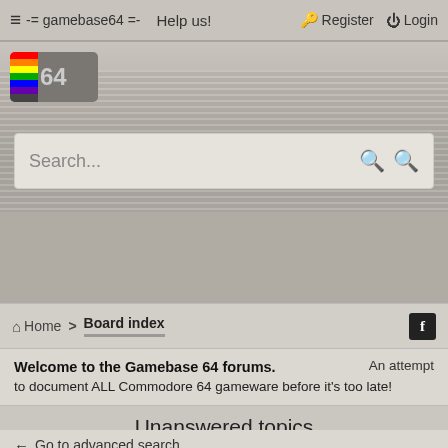≡ -= gamebase64 =- Help us! Register Login
[Figure (logo): Gamebase 64 logo with rainbow stripe and '64' text on grey badge]
Search...
Home > Board index
Welcome to the Gamebase 64 forums. An attempt to document ALL Commodore 64 gameware before it's too late!
Unanswered topics
← Go to advanced search